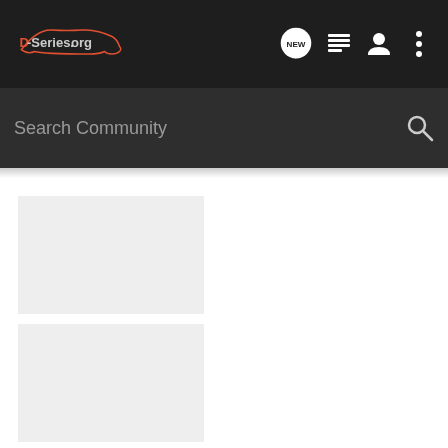[Figure (logo): D-Series.org logo with car silhouette outline on dark header bar]
[Figure (screenshot): Navigation icons: speech bubble with NEW text, list icon, user icon, three-dot menu icon]
Search Community
[Figure (photo): Light gray placeholder image block (top)]
[Figure (photo): Light gray placeholder image block (bottom)]